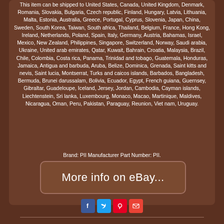This item can be shipped to United States, Canada, United Kingdom, Denmark, Romania, Slovakia, Bulgaria, Czech republic, Finland, Hungary, Latvia, Lithuania, Malta, Estonia, Australia, Greece, Portugal, Cyprus, Slovenia, Japan, China, Sweden, South Korea, Taiwan, South africa, Thailand, Belgium, France, Hong Kong, Ireland, Netherlands, Poland, Spain, Italy, Germany, Austria, Bahamas, Israel, Mexico, New Zealand, Philippines, Singapore, Switzerland, Norway, Saudi arabia, Ukraine, United arab emirates, Qatar, Kuwait, Bahrain, Croatia, Malaysia, Brazil, Chile, Colombia, Costa rica, Panama, Trinidad and tobago, Guatemala, Honduras, Jamaica, Antigua and barbuda, Aruba, Belize, Dominica, Grenada, Saint kitts and nevis, Saint lucia, Montserrat, Turks and caicos islands, Barbados, Bangladesh, Bermuda, Brunei darussalam, Bolivia, Ecuador, Egypt, French guiana, Guernsey, Gibraltar, Guadeloupe, Iceland, Jersey, Jordan, Cambodia, Cayman islands, Liechtenstein, Sri lanka, Luxembourg, Monaco, Macao, Martinique, Maldives, Nicaragua, Oman, Peru, Pakistan, Paraguay, Reunion, Viet nam, Uruguay.
Brand: PII Manufacturer Part Number: PII.
[Figure (other): eBay button with text 'More info on eBay...']
[Figure (infographic): Social sharing icons: Facebook (blue), Twitter (light blue), Pinterest (red), Email (red)]